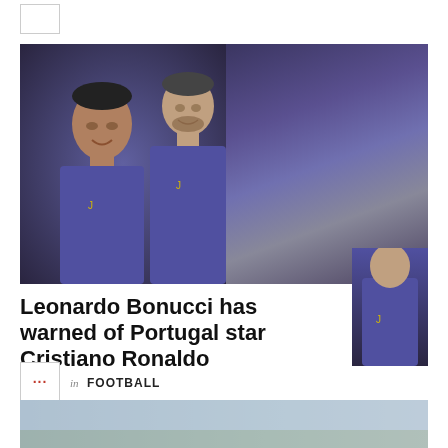[Figure (photo): Small logo/icon box at top left]
[Figure (photo): Two side-by-side sports photos: left shows Leonardo Bonucci in Juventus black-and-white kit celebrating; right shows Cristiano Ronaldo and Leonardo Bonucci in Juventus purple training kit]
Leonardo Bonucci has warned of Portugal star Cristiano Ronaldo
[Figure (logo): Small icon box with red dots ellipsis, next to FOOTBALL category label]
in FOOTBALL
[Figure (photo): Bottom partial strip of another sports image]